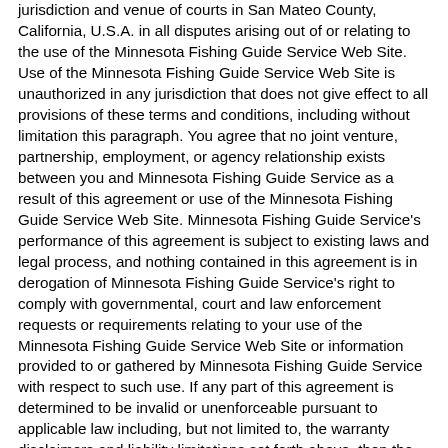jurisdiction and venue of courts in San Mateo County, California, U.S.A. in all disputes arising out of or relating to the use of the Minnesota Fishing Guide Service Web Site. Use of the Minnesota Fishing Guide Service Web Site is unauthorized in any jurisdiction that does not give effect to all provisions of these terms and conditions, including without limitation this paragraph. You agree that no joint venture, partnership, employment, or agency relationship exists between you and Minnesota Fishing Guide Service as a result of this agreement or use of the Minnesota Fishing Guide Service Web Site. Minnesota Fishing Guide Service's performance of this agreement is subject to existing laws and legal process, and nothing contained in this agreement is in derogation of Minnesota Fishing Guide Service's right to comply with governmental, court and law enforcement requests or requirements relating to your use of the Minnesota Fishing Guide Service Web Site or information provided to or gathered by Minnesota Fishing Guide Service with respect to such use. If any part of this agreement is determined to be invalid or unenforceable pursuant to applicable law including, but not limited to, the warranty disclaimers and liability limitations set forth above, then the invalid or unenforceable provision will be deemed superseded by a valid, enforceable provision that most closely matches the intent of the original provision and the remainder of the agreement shall continue in effect. Unless otherwise specified herein, this agreement constitutes the entire agreement between the user and Minnesota Fishing Guide Service with respect to the Minnesota Fishing Guide Service Web Site and it supersedes all prior or contemporaneous communications and proposals, whether electronic, oral or written, between the user and Minnesota Fishing Guide Service with respect to the Minnesota Fishing Guide Service Web Site. A printed version of this